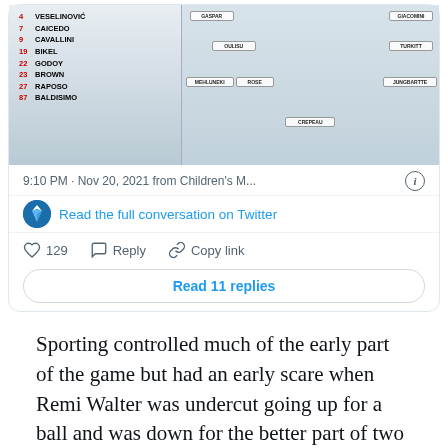[Figure (screenshot): Screenshot of a tweet from Vancouver Whitecaps showing a soccer lineup card with player names and numbers (VESELINOVIC 4, CAICEDO 7, CAVALLINI 9, BIKEL 19, GODOY 22, BROWN 23, RAPOSO 27, BALDISIMO 87) on the left, and player photo cards arranged in a formation on the right.]
9:10 PM · Nov 20, 2021 from Children's M...
Read the full conversation on Twitter
129   Reply   Copy link
Read 11 replies
Sporting controlled much of the early part of the game but had an early scare when Remi Walter was undercut going up for a ball and was down for the better part of two minutes. Thankfully, he was able to